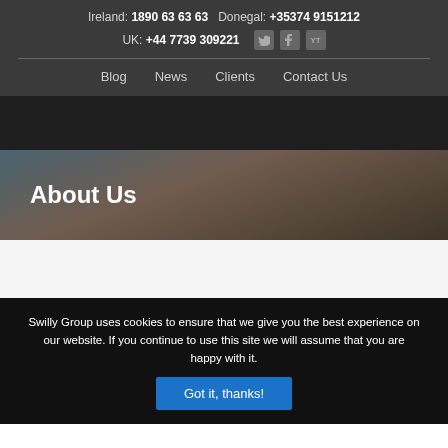Ireland: 1890 63 63 63   Donegal: +35374 9151212
UK: +44 7739 309221
Blog   News   Clients   Contact Us
About Us
Swilly Group uses cookies to ensure that we give you the best experience on our website. If you continue to use this site we will assume that you are happy with it.
Got it, thanks!